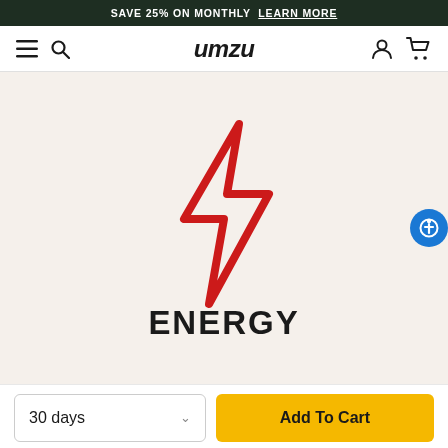SAVE 25% ON MONTHLY LEARN MORE
umzu
[Figure (logo): UMZU product page showing a red lightning bolt icon above the word ENERGY on a light beige background]
ENERGY
30 days
Add To Cart